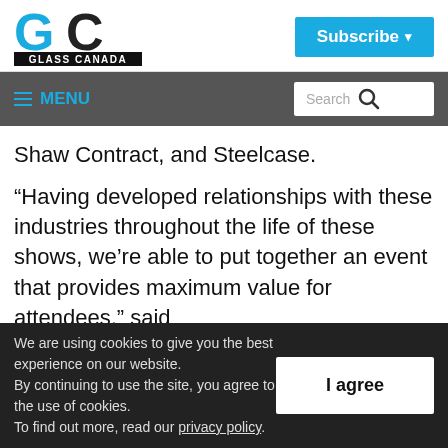[Figure (logo): Glass Canada GC logo with blue and black letters and GLASS CANADA text below]
[Figure (other): Subscribe button with dropdown arrow in blue]
≡ MENU   Search 🔍
Shaw Contract, and Steelcase.
“Having developed relationships with these industries throughout the life of these shows, we’re able to put together an event that provides maximum value for attendees,” said
We are using cookies to give you the best experience on our website.
By continuing to use the site, you agree to the use of cookies.
To find out more, read our privacy policy.